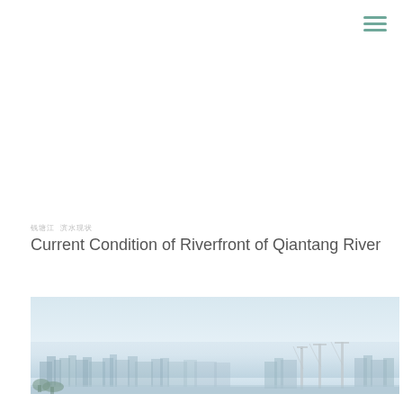[Figure (other): Hamburger menu icon with three horizontal lines in teal/green color, positioned top right]
钱塘江 滨水现状
Current Condition of Riverfront of Qiantang River
[Figure (photo): Panoramic cityscape photo showing the Qiantang River riverfront with city skyline, cranes, and hazy sky]